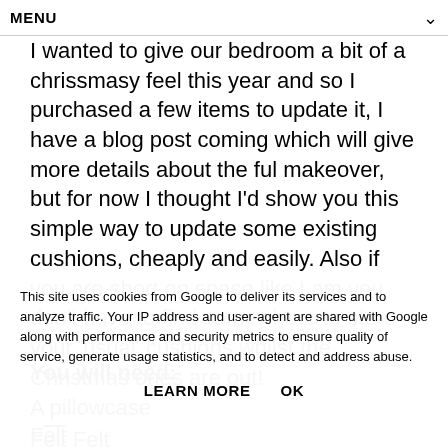MENU
I wanted to give our bedroom a bit of a chrissmasy feel this year and so I purchased a few items to update it, I have a blog post coming which will give more details about the ful makeover, but for now I thought I'd show you this simple way to update some existing cushions, cheaply and easily. Also if you are short on space like I am you don't have to find somewhere to store your 'usual' cushions whilst the Christmas ones are out!
You will need:
A pillowcase
Felt
This site uses cookies from Google to deliver its services and to analyze traffic. Your IP address and user-agent are shared with Google along with performance and security metrics to ensure quality of service, generate usage statistics, and to detect and address abuse.
LEARN MORE    OK